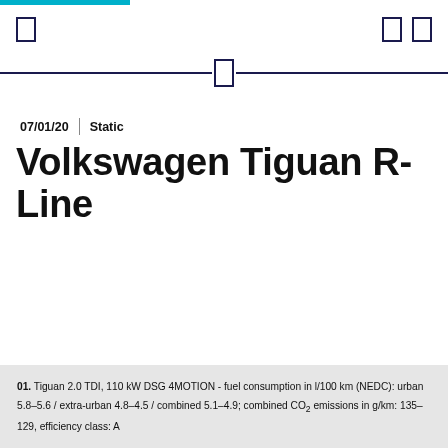07/01/20 | Static
Volkswagen Tiguan R-Line
01. Tiguan 2.0 TDI, 110 kW DSG 4MOTION - fuel consumption in l/100 km (NEDC): urban 5.8–5.6 / extra-urban 4.8–4.5 / combined 5.1–4.9; combined CO₂ emissions in g/km: 135–129, efficiency class: A